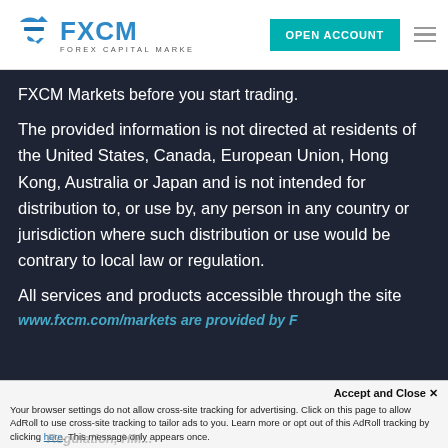[Figure (logo): FXCM Forex Capital Markets logo with teal arrow icon and text]
OPEN ACCOUNT
FXCM Markets before you start trading.
The provided information is not directed at residents of the United States, Canada, European Union, Hong Kong, Australia or Japan and is not intended for distribution to, or use by, any person in any country or jurisdiction where such distribution or use would be contrary to local law or regulation.
All services and products accessible through the site
www.fxcm.com/markets are provided by
Accept and Close ×
Your browser settings do not allow cross-site tracking for advertising. Click on this page to allow AdRoll to use cross-site tracking to tailor ads to you. Learn more or opt out of this AdRoll tracking by clicking here. This message only appears once.